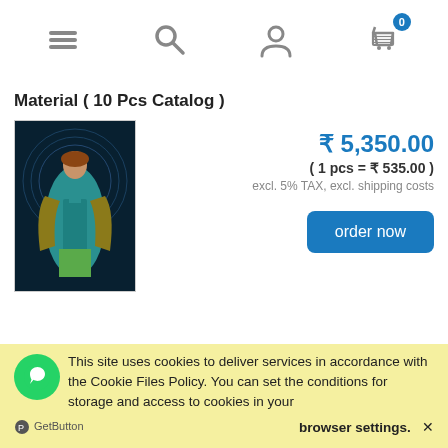Navigation bar with menu, search, user, and cart (0 items)
Material ( 10 Pcs Catalog )
[Figure (photo): A woman wearing a teal/turquoise salwar suit with a golden-green dupatta, standing against a decorative dark blue background.]
₹ 5,350.00
( 1 pcs = ₹ 535.00 )
excl. 5% TAX, excl. shipping costs
order now
Zulfat Designer Suits Manohari Jam Cotton Dress Material ( 10 Pcs Catalog )
This site uses cookies to deliver services in accordance with the Cookie Files Policy. You can set the conditions for storage and access to cookies in your browser settings.